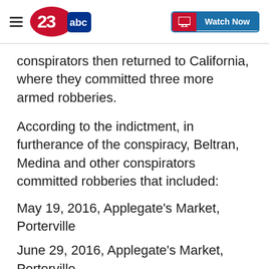23abc | Watch Now
conspirators then returned to California, where they committed three more armed robberies.
According to the indictment, in furtherance of the conspiracy, Beltran, Medina and other conspirators committed robberies that included:
May 19, 2016, Applegate’s Market, Porterville
June 29, 2016, Applegate’s Market, Porterville
October 2, 2016,  EZ Shop-N-Go, Strathmore
November 4, 2016, EZ Shop-N-Go, Strath…